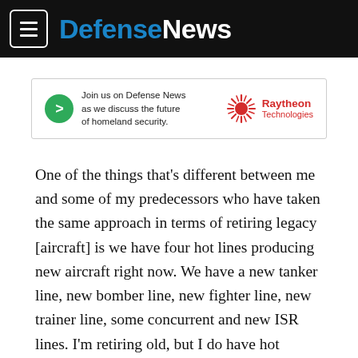DefenseNews
[Figure (other): Advertisement banner: green circle with arrow icon, text 'Join us on Defense News as we discuss the future of homeland security.' and Raytheon Technologies logo]
One of the things that’s different between me and some of my predecessors who have taken the same approach in terms of retiring legacy [aircraft] is we have four hot lines producing new aircraft right now. We have a new tanker line, new bomber line, new fighter line, new trainer line, some concurrent and new ISR lines. I’m retiring old, but I do have hot production lines that are producing aircraft. Albeit, not as fast as I’d like and [we’re] not